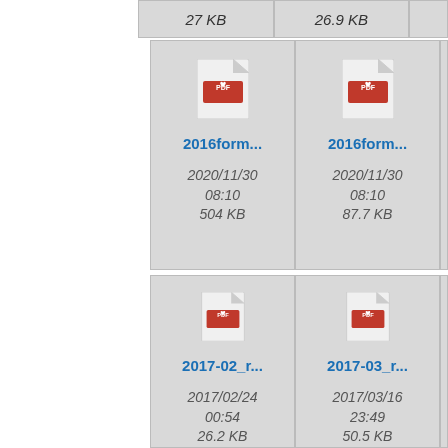27 KB
26.9 KB
[Figure (screenshot): File browser grid view showing PDF file icons. Row 1 partial: file sizes 27 KB and 26.9 KB. Row 2: 2016form... (2020/11/30 08:10, 504 KB) and 2016form... (2020/11/30 08:10, 87.7 KB). Row 3: 2017-02_r... (2017/02/24 00:54, 26.2 KB) and 2017-03_r... (2017/03/16 23:49, 50.5 KB).]